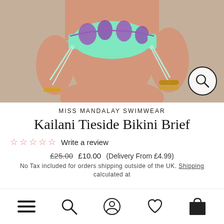[Figure (photo): Model wearing a mint green and purple floral print tie-side bikini brief. The image shows the torso and legs of the model against a beige background. A magnifying glass icon is in the lower right corner.]
MISS MANDALAY SWIMWEAR
Kailani Tieside Bikini Brief
☆☆☆☆☆  Write a review
£25.00  £10.00  (Delivery From £4.99)
No Tax included for orders shipping outside of the UK. Shipping calculated at